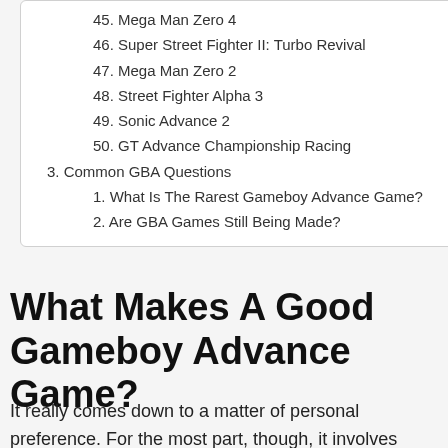45. Mega Man Zero 4
46. Super Street Fighter II: Turbo Revival
47. Mega Man Zero 2
48. Street Fighter Alpha 3
49. Sonic Advance 2
50. GT Advance Championship Racing
3. Common GBA Questions
1. What Is The Rarest Gameboy Advance Game?
2. Are GBA Games Still Being Made?
What Makes A Good Gameboy Advance Game?
It really comes down to a matter of personal preference. For the most part, though, it involves several factors, including graphics, playability,